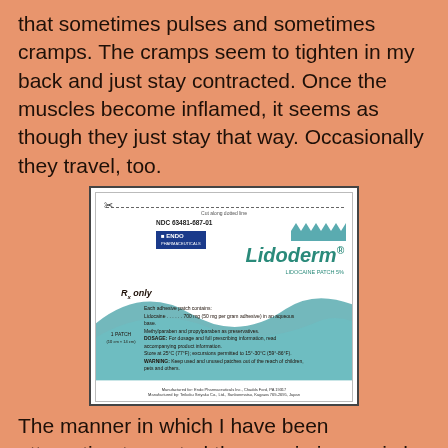that sometimes pulses and sometimes cramps. The cramps seem to tighten in my back and just stay contracted. Once the muscles become inflamed, it seems as though they just stay that way. Occasionally they travel, too.
[Figure (photo): Lidoderm Lidocaine Patch 5% product packaging label showing NDC 63481-687-01, ENDO Pharmaceuticals logo, teal wave design, Rx only marking, ingredients, dosage and warning information, manufacturer details.]
The manner in which I have been attempting to control these pain issues is by using Voltaren Gel, a topical, nonsteroidal anti-inflammatory drug, sparingly. I attempt to use it only